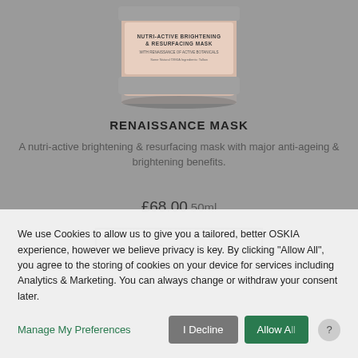[Figure (photo): Product photo of a beige/pink jar labeled NUTRI-ACTIVE BRIGHTENING & RESURFACING MASK, partially visible at top of page]
RENAISSANCE MASK
A nutri-active brightening & resurfacing mask with major anti-ageing & brightening benefits.
£68.00  50ml
ADD TO BAG
We use Cookies to allow us to give you a tailored, better OSKIA experience, however we believe privacy is key. By clicking "Allow All", you agree to the storing of cookies on your device for services including Analytics & Marketing. You can always change or withdraw your consent later.
Manage My Preferences
I Decline
Allow All